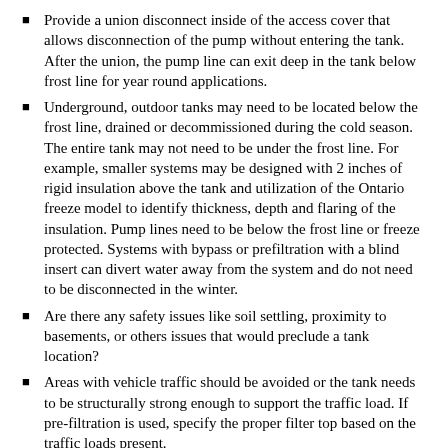Provide a union disconnect inside of the access cover that allows disconnection of the pump without entering the tank. After the union, the pump line can exit deep in the tank below frost line for year round applications.
Underground, outdoor tanks may need to be located below the frost line, drained or decommissioned during the cold season. The entire tank may not need to be under the frost line. For example, smaller systems may be designed with 2 inches of rigid insulation above the tank and utilization of the Ontario freeze model to identify thickness, depth and flaring of the insulation. Pump lines need to be below the frost line or freeze protected. Systems with bypass or prefiltration with a blind insert can divert water away from the system and do not need to be disconnected in the winter.
Are there any safety issues like soil settling, proximity to basements, or others issues that would preclude a tank location?
Areas with vehicle traffic should be avoided or the tank needs to be structurally strong enough to support the traffic load. If pre-filtration is used, specify the proper filter top based on the traffic loads present.
For aboveground storage tanks
Aboveground outdoor tanks may need to be properly insulted,